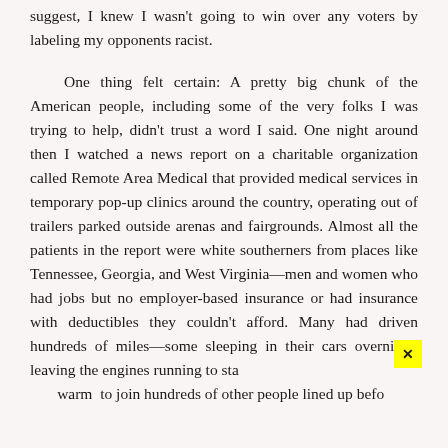suggest, I knew I wasn't going to win over any voters by labeling my opponents racist.
One thing felt certain: A pretty big chunk of the American people, including some of the very folks I was trying to help, didn't trust a word I said. One night around then I watched a news report on a charitable organization called Remote Area Medical that provided medical services in temporary pop-up clinics around the country, operating out of trailers parked outside arenas and fairgrounds. Almost all the patients in the report were white southerners from places like Tennessee, Georgia, and West Virginia—men and women who had jobs but no employer-based insurance or had insurance with deductibles they couldn't afford. Many had driven hundreds of miles—some sleeping in their cars overnight, leaving the engines running to sta…